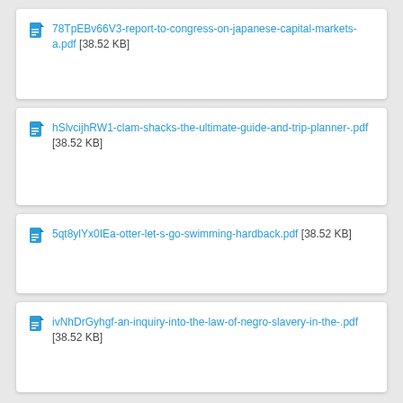78TpEBv66V3-report-to-congress-on-japanese-capital-markets-a.pdf [38.52 KB]
hSlvcijhRW1-clam-shacks-the-ultimate-guide-and-trip-planner-.pdf [38.52 KB]
5qt8ylYx0IEa-otter-let-s-go-swimming-hardback.pdf [38.52 KB]
ivNhDrGyhgf-an-inquiry-into-the-law-of-negro-slavery-in-the-.pdf [38.52 KB]